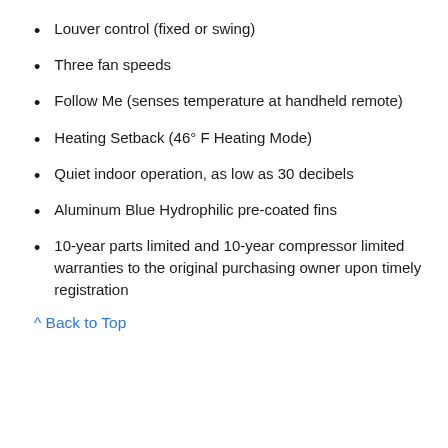Louver control (fixed or swing)
Three fan speeds
Follow Me (senses temperature at handheld remote)
Heating Setback (46° F Heating Mode)
Quiet indoor operation, as low as 30 decibels
Aluminum Blue Hydrophilic pre-coated fins
10-year parts limited and 10-year compressor limited warranties to the original purchasing owner upon timely registration
^ Back to Top